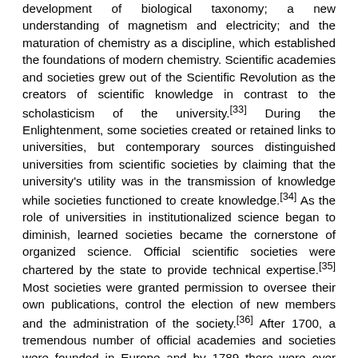development of biological taxonomy; a new understanding of magnetism and electricity; and the maturation of chemistry as a discipline, which established the foundations of modern chemistry. Scientific academies and societies grew out of the Scientific Revolution as the creators of scientific knowledge in contrast to the scholasticism of the university.[33] During the Enlightenment, some societies created or retained links to universities, but contemporary sources distinguished universities from scientific societies by claiming that the university's utility was in the transmission of knowledge while societies functioned to create knowledge.[34] As the role of universities in institutionalized science began to diminish, learned societies became the cornerstone of organized science. Official scientific societies were chartered by the state to provide technical expertise.[35] Most societies were granted permission to oversee their own publications, control the election of new members and the administration of the society.[36] After 1700, a tremendous number of official academies and societies were founded in Europe and by 1789 there were over seventy official scientific societies. In reference to this growth, Bernard de Fontenelle coined